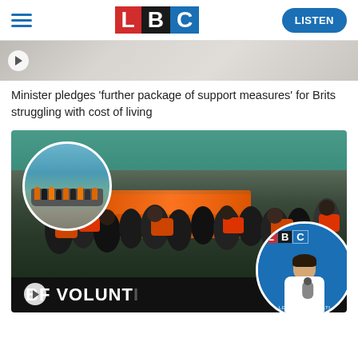[Figure (logo): LBC radio network logo with L in red, B in black, C in blue squares]
[Figure (screenshot): Top partial article thumbnail with play button, appears to be a phone/document image]
Minister pledges 'further package of support measures' for Brits struggling with cost of living
[Figure (photo): Main photo showing migrants/refugees on a boat labeled 'BF VOLUNTEER', with a circular inset showing a small inflatable boat at sea, and an LBC logo circle overlay in the bottom-right with a presenter holding a microphone]